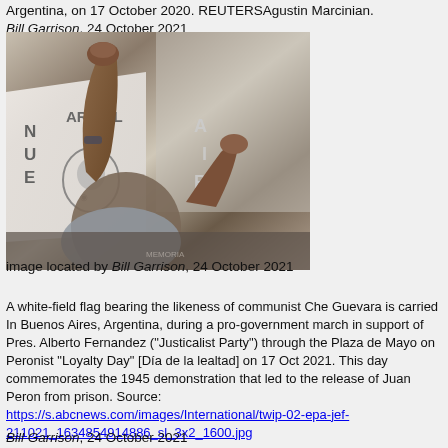Argentina, on 17 October 2020. REUTERSAgustin Marcinian. Bill Garrison, 24 October 2021
[Figure (photo): A person raising a fist at a pro-government march in Buenos Aires, Argentina, with white flags bearing the likeness of Che Guevara visible in the background.]
image located by Bill Garrison, 24 October 2021
A white-field flag bearing the likeness of communist Che Guevara is carried In Buenos Aires, Argentina, during a pro-government march in support of Pres. Alberto Fernandez ("Justicalist Party") through the Plaza de Mayo on Peronist "Loyalty Day" [Día de la lealtad] on 17 Oct 2021. This day commemorates the 1945 demonstration that led to the release of Juan Peron from prison. Source: https://s.abcnews.com/images/International/twip-02-epa-jef-211021_1634854914886_sl_3x2_1600.jpg
Bill Garrison, 24 October 2021